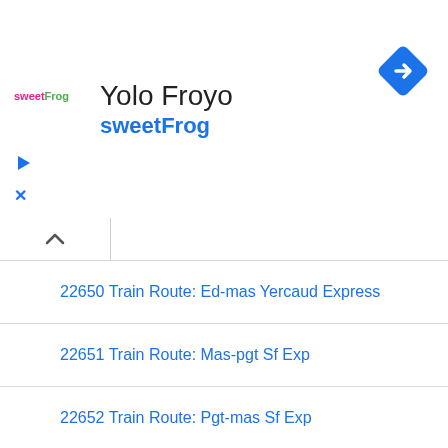[Figure (logo): sweetFrog logo - pink/green text on white background]
Yolo Froyo
sweetFrog
[Figure (other): Blue diamond navigation/directions icon]
22650 Train Route: Ed-mas Yercaud Express
22651 Train Route: Mas-pgt Sf Exp
22652 Train Route: Pgt-mas Sf Exp
22653 Train Route: Tvc-nzm Wkly Sf Exp
22654 Train Route: Nzm-tvc Wkly Sf Exp
22655 Train Route: Tvc-nzm Wkly Sf Exp
Mumbai Varanasi Trains